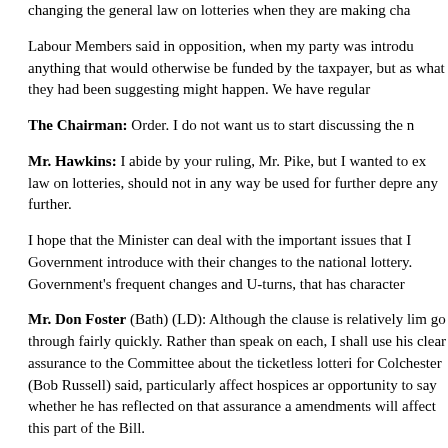changing the general law on lotteries when they are making cha
Labour Members said in opposition, when my party was introdu anything that would otherwise be funded by the taxpayer, but as what they had been suggesting might happen. We have regular
The Chairman: Order. I do not want us to start discussing the n
Mr. Hawkins: I abide by your ruling, Mr. Pike, but I wanted to ex law on lotteries, should not in any way be used for further depre any further.
I hope that the Minister can deal with the important issues that I Government introduce with their changes to the national lottery. Government's frequent changes and U-turns, that has character
Mr. Don Foster (Bath) (LD): Although the clause is relatively lim go through fairly quickly. Rather than speak on each, I shall use his clear assurance to the Committee about the ticketless lotteri for Colchester (Bob Russell) said, particularly affect hospices ar opportunity to say whether he has reflected on that assurance a amendments will affect this part of the Bill.
I want to ask the Minister a question about definitions, although 9. Can he explain to the Committee whether something that is o
Column Number: 485
called a 100 club, a 200 club or a 500 club, which several organ part of the Bill? People are, in effect, buying a number, with th